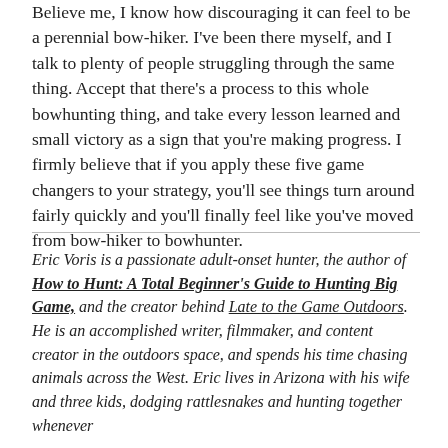Believe me, I know how discouraging it can feel to be a perennial bow-hiker. I've been there myself, and I talk to plenty of people struggling through the same thing. Accept that there's a process to this whole bowhunting thing, and take every lesson learned and small victory as a sign that you're making progress. I firmly believe that if you apply these five game changers to your strategy, you'll see things turn around fairly quickly and you'll finally feel like you've moved from bow-hiker to bowhunter.
Eric Voris is a passionate adult-onset hunter, the author of How to Hunt: A Total Beginner's Guide to Hunting Big Game, and the creator behind Late to the Game Outdoors. He is an accomplished writer, filmmaker, and content creator in the outdoors space, and spends his time chasing animals across the West. Eric lives in Arizona with his wife and three kids, dodging rattlesnakes and hunting together whenever